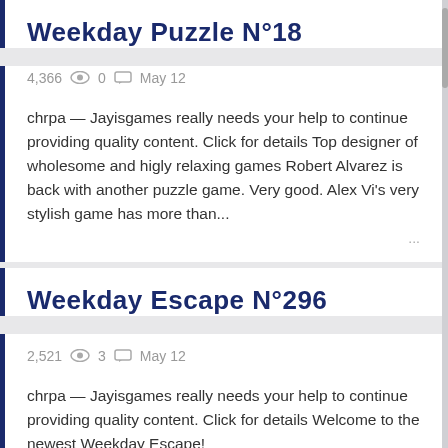Weekday Puzzle N°18
4,366  0  May 12
chrpa — Jayisgames really needs your help to continue providing quality content. Click for details Top designer of wholesome and higly relaxing games Robert Alvarez is back with another puzzle game. Very good. Alex Vi's very stylish game has more than...
Weekday Escape N°296
2,521  3  May 12
chrpa — Jayisgames really needs your help to continue providing quality content. Click for details Welcome to the newest Weekday Escape!